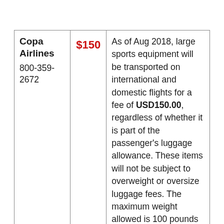| Airline | Fee | Description |
| --- | --- | --- |
| Copa Airlines
800-359-2672 | $150 | As of Aug 2018, large sports equipment will be transported on international and domestic flights for a fee of USD150.00, regardless of whether it is part of the passenger's luggage allowance. These items will not be subject to overweight or oversize luggage fees. The maximum weight allowed is 100 pounds (45 kilograms), and the maximum size allowed is |